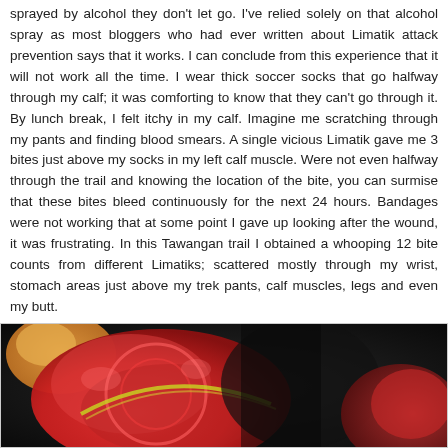sprayed by alcohol they don't let go. I've relied solely on that alcohol spray as most bloggers who had ever written about Limatik attack prevention says that it works. I can conclude from this experience that it will not work all the time. I wear thick soccer socks that go halfway through my calf; it was comforting to know that they can't go through it. By lunch break, I felt itchy in my calf. Imagine me scratching through my pants and finding blood smears. A single vicious Limatik gave me 3 bites just above my socks in my left calf muscle. Were not even halfway through the trail and knowing the location of the bite, you can surmise that these bites bleed continuously for the next 24 hours. Bandages were not working that at some point I gave up looking after the wound, it was frustrating. In this Tawangan trail I obtained a whooping 12 bite counts from different Limatiks; scattered mostly through my wrist, stomach areas just above my trek pants, calf muscles, legs and even my butt.
[Figure (photo): Close-up photo showing red and colorful objects, possibly hiking gear or equipment, against a dark background.]